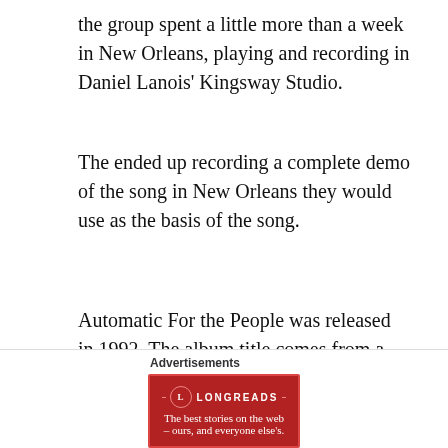the group spent a little more than a week in New Orleans, playing and recording in Daniel Lanois' Kingsway Studio.
The ended up recording a complete demo of the song in New Orleans they would use as the basis of the song.
Automatic For the People was released in 1992. The album title comes from a sign at “Weaver D’s Delicious Fine Foods” diner in Athens, Georgia. It read, “Delicious Fine Foods – Automatic For The People.” The diner was near
Advertisements
[Figure (other): Longreads advertisement banner: red background with Longreads logo and tagline 'The best stories on the web – ours, and everyone else’s.']